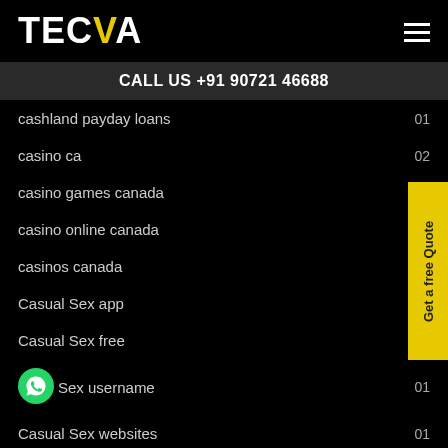TECVA
CALL US +91 90721 46688
cashland payday loans  01
casino ca  02
casino games canada
casino online canada
casinos canada
Casual Sex app
Casual Sex free  01
Casual Sex username  01
Casual Sex websites  01